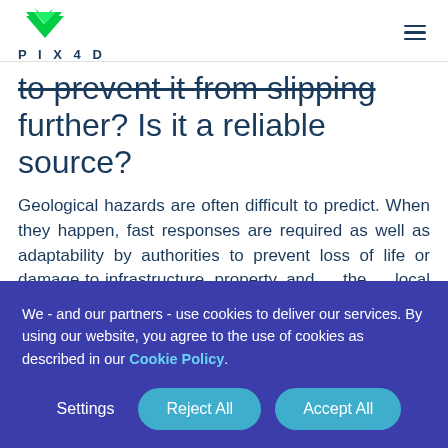PIX4D
to prevent it from slipping further? Is it a reliable source?
Geological hazards are often difficult to predict. When they happen, fast responses are required as well as adaptability by authorities to prevent loss of life or damage to infrastructure, property, and the local environment. Situational
We - and our partners - use cookies to deliver our services. By using our website, you agree to the use of cookies as described in our Cookie Policy.